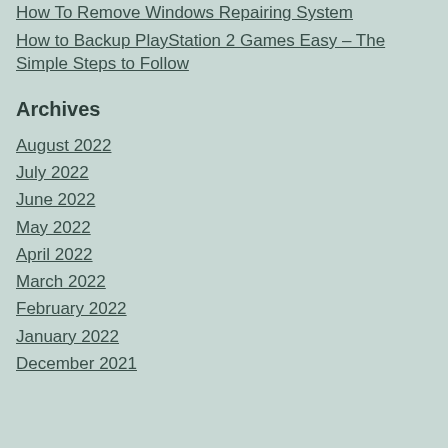How To Remove Windows Repairing System
How to Backup PlayStation 2 Games Easy – The Simple Steps to Follow
Archives
August 2022
July 2022
June 2022
May 2022
April 2022
March 2022
February 2022
January 2022
December 2021